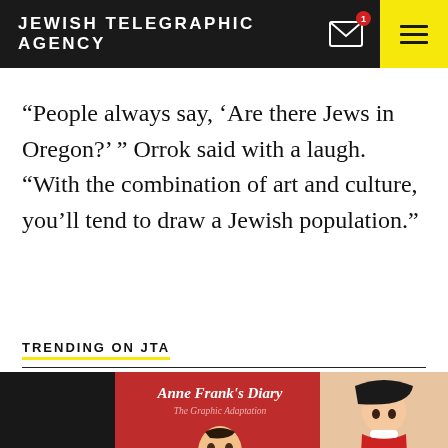JEWISH TELEGRAPHIC AGENCY
“People always say, ‘Are there Jews in Oregon?’ ” Orrok said with a laugh. “With the combination of art and culture, you’ll tend to draw a Jewish population.”
TRENDING ON JTA
[Figure (photo): Copies of Anne Frank’s Diary: The Graphic Adaptation book covers arranged side by side, showing dark covers with the title in italic script and an illustration of a young girl in a red dress.]